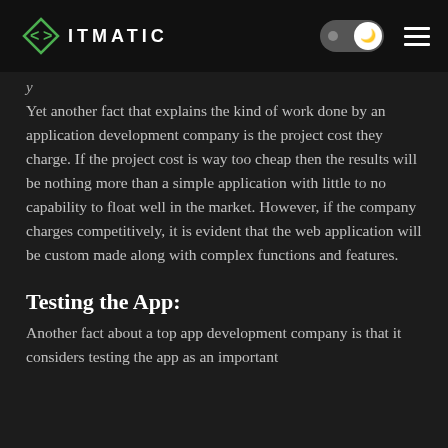ITMATIC
Yet another fact that explains the kind of work done by an application development company is the project cost they charge. If the project cost is way too cheap then the results will be nothing more than a simple application with little to no capability to float well in the market. However, if the company charges competitively, it is evident that the web application will be custom made along with complex functions and features.
Testing the App:
Another fact about a top app development company is that it considers testing the app as an important